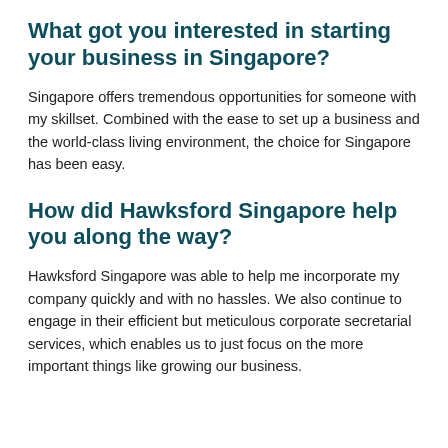What got you interested in starting your business in Singapore?
Singapore offers tremendous opportunities for someone with my skillset. Combined with the ease to set up a business and the world-class living environment, the choice for Singapore has been easy.
How did Hawksford Singapore help you along the way?
Hawksford Singapore was able to help me incorporate my company quickly and with no hassles. We also continue to engage in their efficient but meticulous corporate secretarial services, which enables us to just focus on the more important things like growing our business.